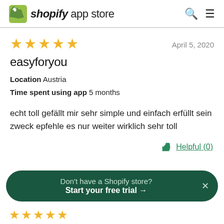shopify app store
[Figure (other): Five gold star rating]
April 5, 2020
easyforyou
Location  Austria
Time spent using app  5 months
echt toll gefällt mir sehr simple und einfach erfüllt sein zweck epfehle es nur weiter wirklich sehr toll
Helpful (0)
Don't have a Shopify store? Start your free trial →